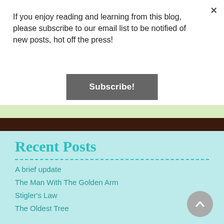If you enjoy reading and learning from this blog, please subscribe to our email list to be notified of new posts, hot off the press!
Subscribe!
Recent Posts
A brief update
The Man With The Golden Arm
Stigler's Law
The Oldest Tree